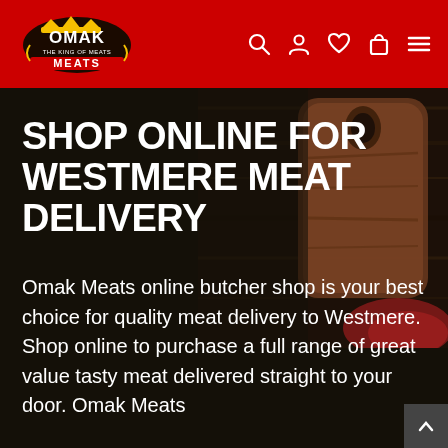[Figure (logo): Omak Meats - The King of Meats logo on red header background]
SHOP ONLINE FOR WESTMERE MEAT DELIVERY
Omak Meats online butcher shop is your best choice for quality meat delivery to Westmere. Shop online to purchase a full range of great value tasty meat delivered straight to your door. Omak Meats